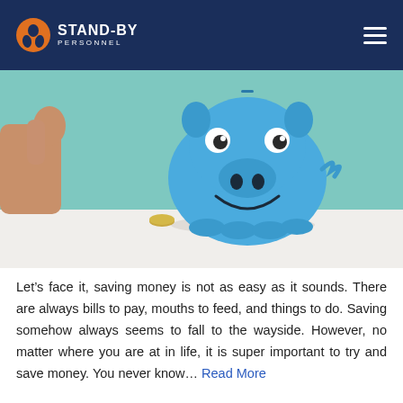STAND-BY PERSONNEL
[Figure (photo): A blue smiling ceramic piggy bank with googly eyes facing the camera, with a coin placed in front of it on a white surface. A human hand is visible on the left side inserting or holding near the bank. Background is a teal/mint color.]
Let's face it, saving money is not as easy as it sounds. There are always bills to pay, mouths to feed, and things to do. Saving somehow always seems to fall to the wayside. However, no matter where you are at in life, it is super important to try and save money. You never know… Read More